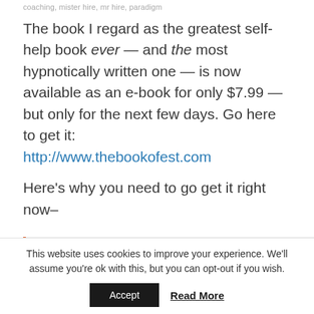coaching, mister hire, mr hire, paradigm
The book I regard as the greatest self-help book ever — and the most hypnotically written one — is now available as an e-book for only $7.99 — but only for the next few days. Go here to get it: http://www.thebookofest.com
Here's why you need to go get it right now–
[blockquote begin]
This website uses cookies to improve your experience. We'll assume you're ok with this, but you can opt-out if you wish.
Accept | Read More